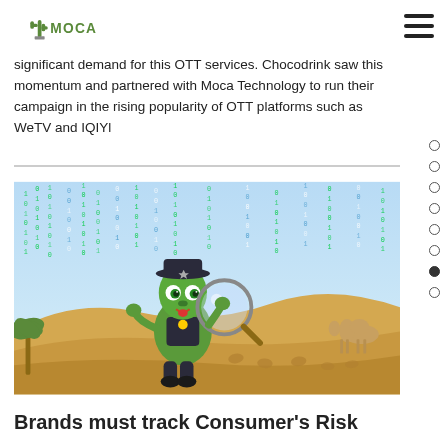MOCA
significant demand for this OTT services. Chocodrink saw this momentum and partnered with Moca Technology to run their campaign in the rising popularity of OTT platforms such as WeTV and IQIYl
[Figure (illustration): Illustrated green cartoon detective character holding a magnifying glass, standing on desert sand dunes with binary code matrix rain in the blue sky background and a camel in the distance.]
Brands must track Consumer's Risk